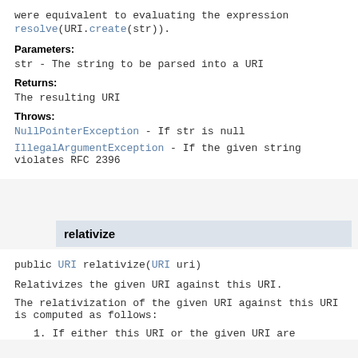were equivalent to evaluating the expression resolve(URI.create(str)).
Parameters:
str - The string to be parsed into a URI
Returns:
The resulting URI
Throws:
NullPointerException - If str is null
IllegalArgumentException - If the given string violates RFC 2396
relativize
public URI relativize(URI uri)
Relativizes the given URI against this URI.
The relativization of the given URI against this URI is computed as follows:
1. If either this URI or the given URI are